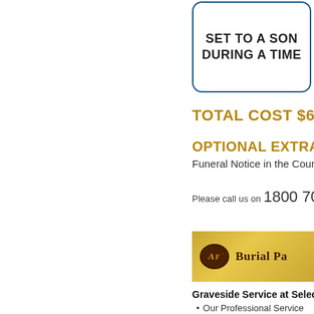[Figure (other): Rounded blue-bordered box (cropped) with bold text reading SET TO A SON... DURING A TIME...]
TOTAL COST $6295 INC. G...
OPTIONAL EXTRAS:
Funeral Notice in the Courier M...
Please call us on 1800 705 20...
[Figure (logo): Gold banner with AF logo oval and text BURIAL PA...]
Graveside Service at Selected C...
Our Professional Service...
Transfer of your loved on...
*Additional fees will ann...